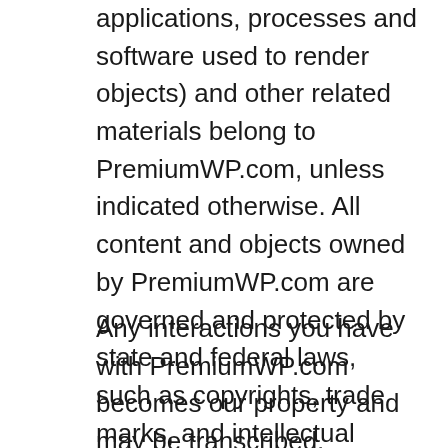applications, processes and software used to render objects) and other related materials belong to PremiumWP.com, unless indicated otherwise. All content and objects owned by PremiumWP.com are governed and protected by state and federal laws, such as copyrights, trade marks, and intellectual property rights. Only third-party materials, brands, trademarks and service marks are the property of their respective owners.
Any interactions you have with PremiumWP.com becomes our property and may be transcribed, recorded, published or sold as is allowed within the constraints of applicable local, state and federal laws. We are not responsible for errors,